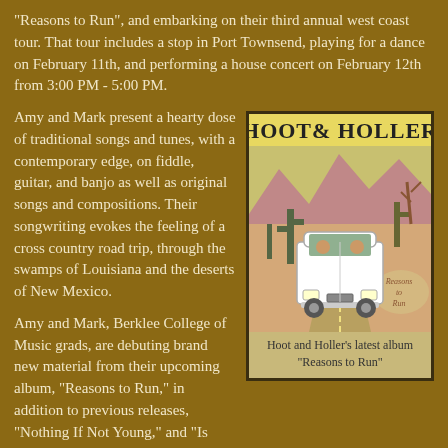"Reasons to Run", and embarking on their third annual west coast tour. That tour includes a stop in Port Townsend, playing for a dance on February 11th, and performing a house concert on February 12th from 3:00 PM - 5:00 PM.
Amy and Mark present a hearty dose of traditional songs and tunes, with a contemporary edge, on fiddle, guitar, and banjo as well as original songs and compositions. Their songwriting evokes the feeling of a cross country road trip, through the swamps of Louisiana and the deserts of New Mexico.
[Figure (illustration): Album cover for Hoot and Holler's 'Reasons to Run'. Shows a white van on a desert road with cacti, mountains in background. Text 'HOOT & HOLLER' at top in stylized letters. 'Reasons to Run' text on a rock in the lower right.]
Hoot and Holler's latest album "Reasons to Run"
Amy and Mark, Berklee College of Music grads, are debuting brand new material from their upcoming album, "Reasons to Run," in addition to previous releases, "Nothing If Not Young," and "Is This Goodbye." The